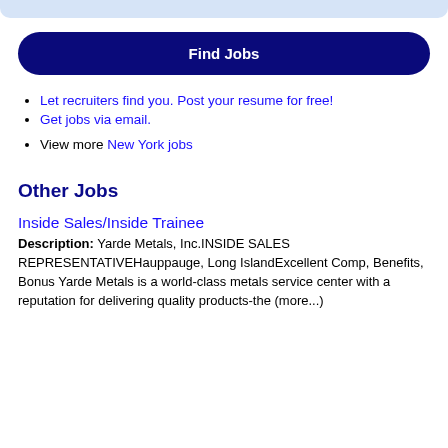Find Jobs
Let recruiters find you. Post your resume for free!
Get jobs via email.
View more New York jobs
Other Jobs
Inside Sales/Inside Trainee
Description: Yarde Metals, Inc.INSIDE SALES REPRESENTATIVEHauppauge, Long IslandExcellent Comp, Benefits, Bonus Yarde Metals is a world-class metals service center with a reputation for delivering quality products-the (more...)